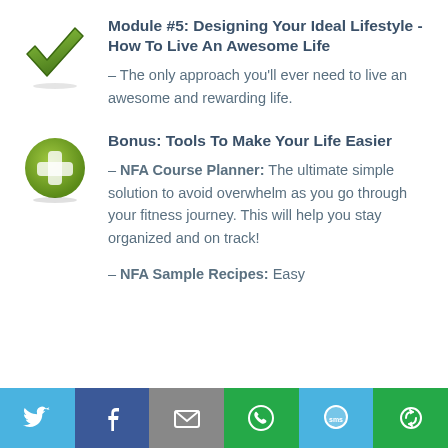[Figure (illustration): Green checkmark icon]
Module #5: Designing Your Ideal Lifestyle - How To Live An Awesome Life
– The only approach you'll ever need to live an awesome and rewarding life.
[Figure (illustration): Green circle with plus sign icon]
Bonus: Tools To Make Your Life Easier
– NFA Course Planner: The ultimate simple solution to avoid overwhelm as you go through your fitness journey. This will help you stay organized and on track!
– NFA Sample Recipes: Easy
[Figure (infographic): Social sharing footer bar with Twitter, Facebook, Email, WhatsApp, SMS, and another share button]